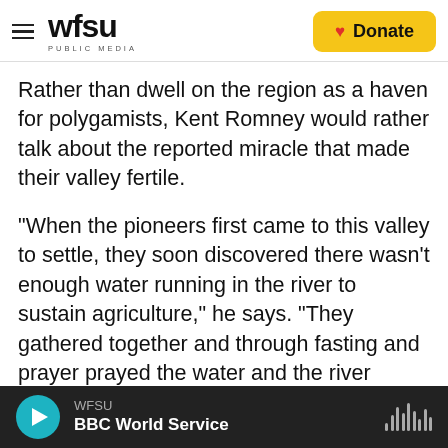WFSU PUBLIC MEDIA | Donate
Rather than dwell on the region as a haven for polygamists, Kent Romney would rather talk about the reported miracle that made their valley fertile.
"When the pioneers first came to this valley to settle, they soon discovered there wasn't enough water running in the river to sustain agriculture," he says. "They gathered together and through fasting and prayer prayed the water and the river would increase."
An earthquake in 1887 cracked open a fissure and uncorked an aquifer that has been irrigating their
WFSU | BBC World Service